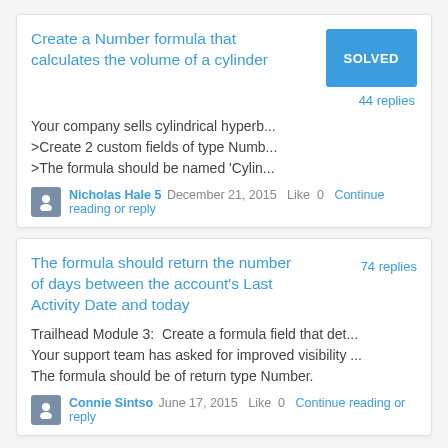Create a Number formula that calculates the volume of a cylinder
Your company sells cylindrical hyperb...
>Create 2 custom fields of type Numb...
>The formula should be named 'Cylin...
44 replies
Nicholas Hale 5  December 21, 2015  Like  0  Continue reading or reply
The formula should return the number of days between the account's Last Activity Date and today
74 replies
Trailhead Module 3:  Create a formula field that det...
Your support team has asked for improved visibility ...
The formula should be of return type Number.
Connie Sintso  June 17, 2015  Like  0  Continue reading or reply
Documentation